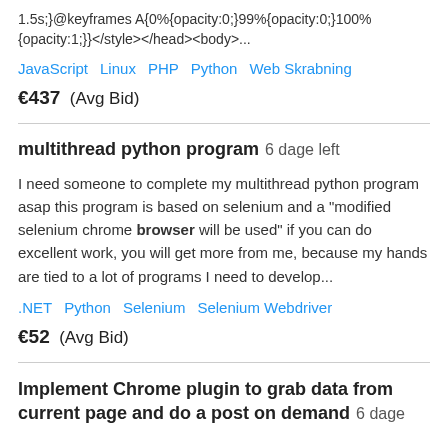1.5s;}@keyframes A{0%{opacity:0;}99%{opacity:0;}100%{opacity:1;}}</style></head><body>...
JavaScript   Linux   PHP   Python   Web Skrabning
€437  (Avg Bid)
multithread python program  6 dage left
I need someone to complete my multithread python program asap this program is based on selenium and a "modified selenium chrome browser will be used" if you can do excellent work, you will get more from me, because my hands are tied to a lot of programs I need to develop...
.NET   Python   Selenium   Selenium Webdriver
€52  (Avg Bid)
Implement Chrome plugin to grab data from current page and do a post on demand  6 dage